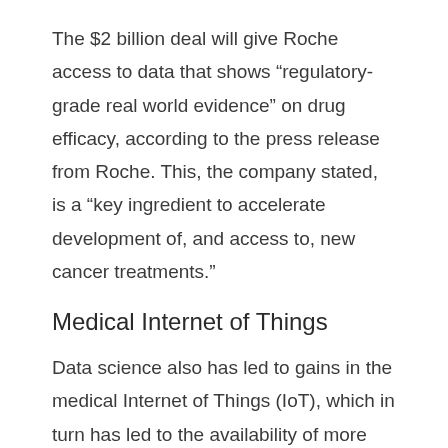The $2 billion deal will give Roche access to data that shows “regulatory-grade real world evidence” on drug efficacy, according to the press release from Roche. This, the company stated, is a “key ingredient to accelerate development of, and access to, new cancer treatments.”
Medical Internet of Things
Data science also has led to gains in the medical Internet of Things (IoT), which in turn has led to the availability of more data.
Healthcare IoT involves the use of web-connected medical devices that transmit information on the